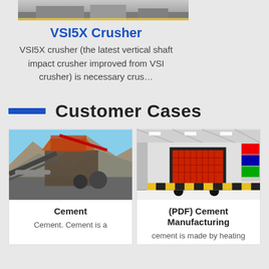[Figure (photo): Partial view of industrial crusher machine equipment at the top of page]
VSI5X Crusher
VSI5X crusher (the latest vertical shaft impact crusher improved from VSI crusher) is necessary crus…
Customer Cases
[Figure (photo): Outdoor mining/quarrying site with industrial crushing equipment, conveyor belts, and rocky terrain in background]
Cement
Cement. Cement is a
[Figure (photo): Indoor industrial facility with a large red crusher/impact machine on display floor, yellow-black safety markings, flags visible]
(PDF) Cement Manufacturing
cement is made by heating